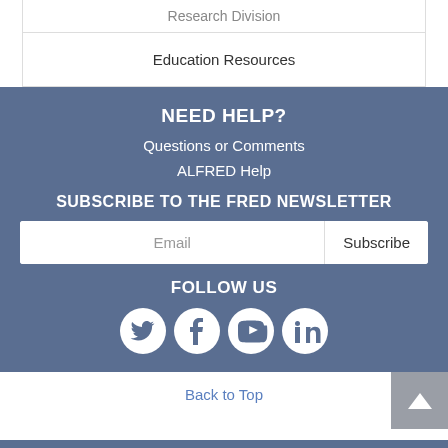Research Division
Education Resources
NEED HELP?
Questions or Comments
ALFRED Help
SUBSCRIBE TO THE FRED NEWSLETTER
Email
Subscribe
FOLLOW US
[Figure (infographic): Social media icons: Twitter, Facebook, YouTube, LinkedIn]
Back to Top
Federal Reserve Bank of St. Louis, One Federal Reserve Bank Plaza, St. Louis, MO 63102